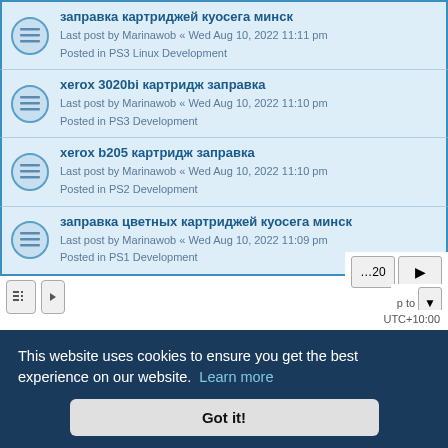заправка картриджей куосега минск
Last post by Marinawob « Wed Aug 10, 2022 11:11 pm
Posted in PS3 Linux Development
xerox 3020bi картридж заправка
Last post by Marinawob « Wed Aug 10, 2022 11:10 pm
Posted in PS3 Development
xerox b205 картридж заправка
Last post by Marinawob « Wed Aug 10, 2022 11:10 pm
Posted in PS2 Development
заправка цветных картриджей куосега минск
Last post by Marinawob « Wed Aug 10, 2022 11:09 pm
Posted in PS1 Development
This website uses cookies to ensure you get the best experience on our website. Learn more
Got it!